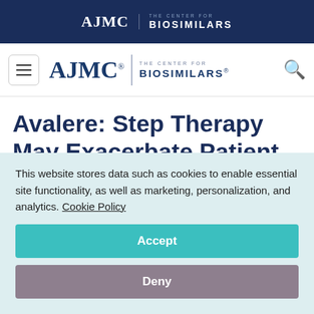AJMC | THE CENTER FOR BIOSIMILARS
[Figure (logo): AJMC The Center for Biosimilars navigation logo with hamburger menu and search icon]
Avalere: Step Therapy May Exacerbate Patient, Payer Costs
October 19, 2020
This website stores data such as cookies to enable essential site functionality, as well as marketing, personalization, and analytics. Cookie Policy
Accept
Deny